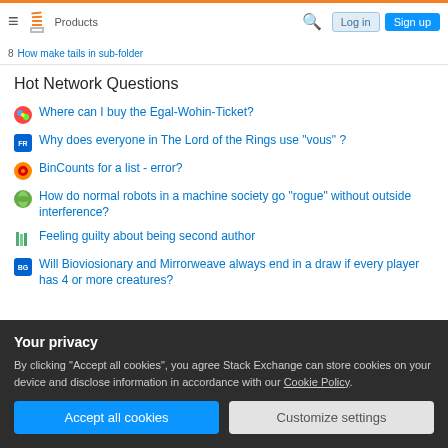≡  Stack Overflow  Products  🔍  Log in  Sign up
How to make tails in sub-folder
Hot Network Questions
Where can I buy the Egal-Wohin-Ticket?
Why does everyone in The Lord of the Rings use "vous" ?
BinCounts for a list - error?
How do normal robots in a machine society go "rogue" without outside interference?
Feeling guilty about being second author
Will Bioviosionary and Mirrorweave always end in a draw if every player has 4 or more creatures?
Your privacy
By clicking "Accept all cookies", you agree Stack Exchange can store cookies on your device and disclose information in accordance with our Cookie Policy.
Accept all cookies  Customize settings